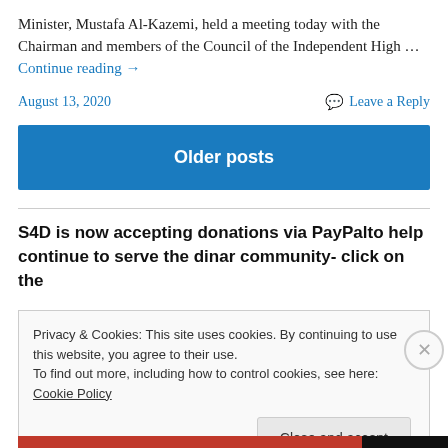Minister, Mustafa Al-Kazemi, held a meeting today with the Chairman and members of the Council of the Independent High … Continue reading →
August 13, 2020
Leave a Reply
Older posts
S4D is now accepting donations via PayPalto help continue to serve the dinar community- click on the
Privacy & Cookies: This site uses cookies. By continuing to use this website, you agree to their use.
To find out more, including how to control cookies, see here: Cookie Policy
Close and accept